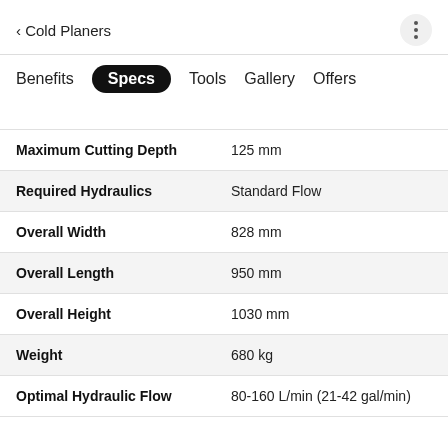< Cold Planers
Benefits  Specs  Tools  Gallery  Offers
| Spec | Value |
| --- | --- |
| Maximum Cutting Depth | 125 mm |
| Required Hydraulics | Standard Flow |
| Overall Width | 828 mm |
| Overall Length | 950 mm |
| Overall Height | 1030 mm |
| Weight | 680 kg |
| Optimal Hydraulic Flow | 80-160 L/min (21-42 gal/min) |